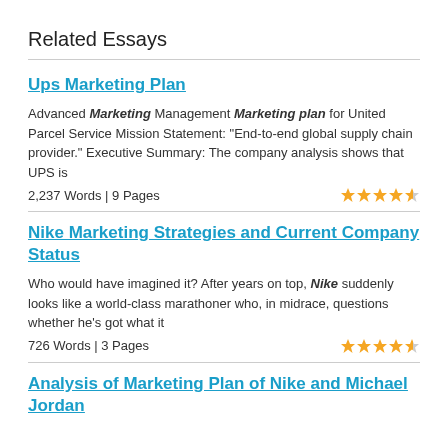Related Essays
Ups Marketing Plan
Advanced Marketing Management Marketing plan for United Parcel Service Mission Statement: "End-to-end global supply chain provider." Executive Summary: The company analysis shows that UPS is
2,237 Words | 9 Pages
Nike Marketing Strategies and Current Company Status
Who would have imagined it? After years on top, Nike suddenly looks like a world-class marathoner who, in midrace, questions whether he's got what it
726 Words | 3 Pages
Analysis of Marketing Plan of Nike and Michael Jordan